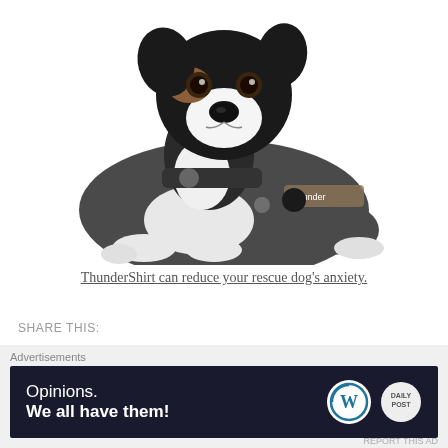[Figure (photo): A black, white, and tan puppy wearing a grey ThunderShirt anxiety wrap, lying down on a white background, looking at the camera.]
ThunderShirt can reduce your rescue dog's anxiety.
SHARE THIS:
[Figure (screenshot): Advertisement banner with dark blue background. Text reads: 'Opinions. We all have them!' with WordPress logo and another circular logo on the right.]